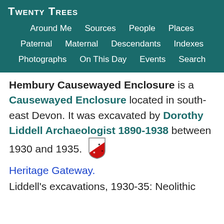Twenty Trees
Around Me  Sources  People  Places  Paternal  Maternal  Descendants  Indexes  Photographs  On This Day  Events  Search
Hembury Causewayed Enclosure is a Causewayed Enclosure located in southeast Devon. It was excavated by Dorothy Liddell Archaeologist 1890-1938 between 1930 and 1935.
Heritage Gateway.
Liddell's excavations, 1930-35: Neolithic